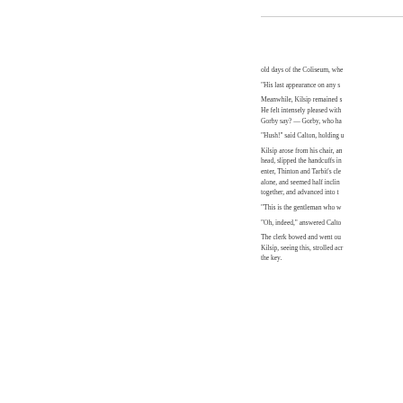old days of the Coliseum, whe
"His last appearance on any s
Meanwhile, Kilsip remained s He felt intensely pleased with Gorby say? — Gorby, who ha
"Hush!" said Calton, holding u
Kilsip arose from his chair, an head, slipped the handcuffs in enter, Thinton and Tarbit's cle alone, and seemed half inclin together, and advanced into t
"This is the gentleman who w
"Oh, indeed," answered Calto
The clerk bowed and went ou Kilsip, seeing this, strolled acr the key.